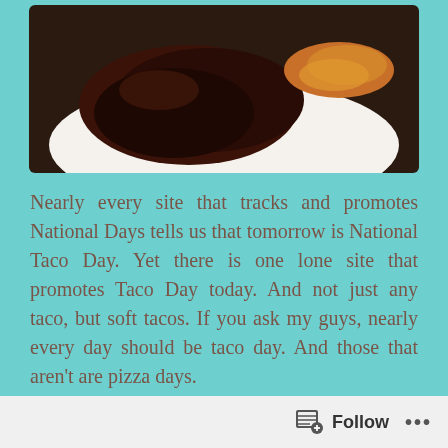[Figure (photo): A plate with dark brown refried beans or meat patty and orange shredded cheese or rice on a white plate, photographed from above on a dark background.]
Nearly every site that tracks and promotes National Days tells us that tomorrow is National Taco Day. Yet there is one lone site that promotes Taco Day today. And not just any taco, but soft tacos. If you ask my guys, nearly every day should be taco day. And those that aren’t are pizza days.
Okay, so that is an exaggeration. My guys are big, big fans of anything Mexican. Tacos, burritos, grilled meats, roasts – if it involves